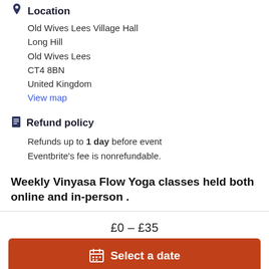Location
Old Wives Lees Village Hall
Long Hill
Old Wives Lees
CT4 8BN
United Kingdom
View map
Refund policy
Refunds up to 1 day before event
Eventbrite's fee is nonrefundable.
Weekly Vinyasa Flow Yoga classes held both online and in-person .
£0 – £35
Select a date